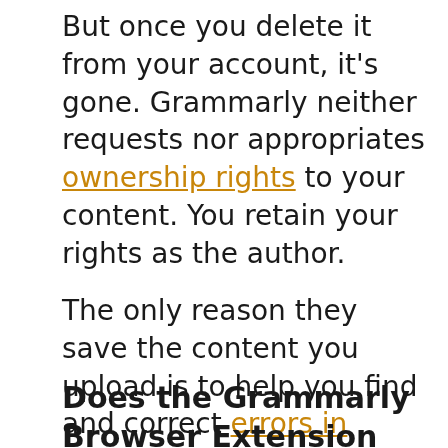But once you delete it from your account, it's gone. Grammarly neither requests nor appropriates ownership rights to your content. You retain your rights as the author.
The only reason they save the content you upload is to help you find and correct errors in spelling, grammar, and mechanics. If you're done with it, so are they.
Does the Grammarly Browser Extension Log Everything I